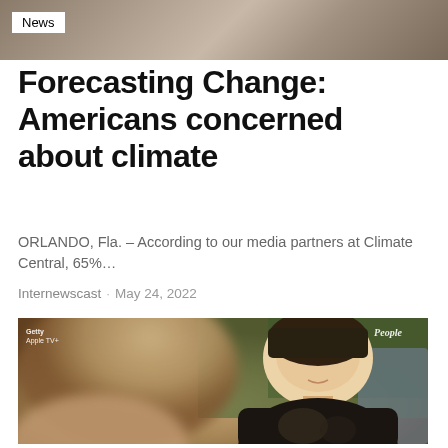News
Forecasting Change: Americans concerned about climate
ORLANDO, Fla. – According to our media partners at Climate Central, 65%…
Internewscast · May 24, 2022
[Figure (photo): Two people in conversation; person on right is a woman with dark hair pulled back wearing a dark metallic jacket, smiling. Background shows green foliage. Overlay text top-left: 'Getty Apple TV+'; top-right: 'People']